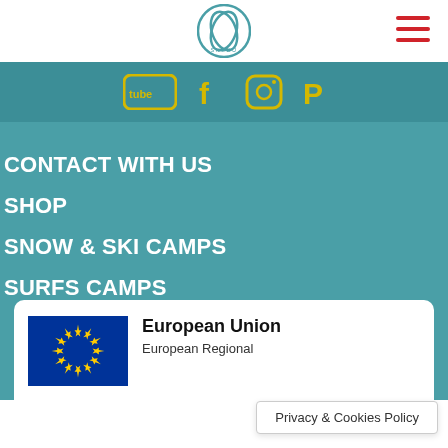SNEDU logo and hamburger menu
[Figure (other): Social media icons on teal background: YouTube, Facebook, Instagram, Pinterest]
CONTACT WITH US
SHOP
SNOW & SKI CAMPS
SURFS CAMPS
[Figure (logo): European Union flag with blue background and yellow stars circle]
European Union
European Regional
Privacy & Cookies Policy